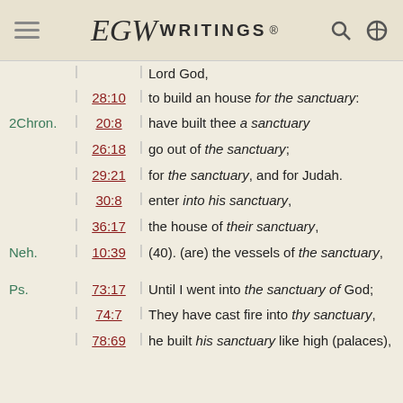EGW WRITINGS®
| Book |  | Ref |  | Text |
| --- | --- | --- | --- | --- |
|  |  |  |  | Lord God, |
|  |  | 28:10 |  | to build an house for the sanctuary: |
| 2Chron. |  | 20:8 |  | have built thee a sanctuary |
|  |  | 26:18 |  | go out of the sanctuary; |
|  |  | 29:21 |  | for the sanctuary, and for Judah. |
|  |  | 30:8 |  | enter into his sanctuary, |
|  |  | 36:17 |  | the house of their sanctuary, |
| Neh. |  | 10:39 |  | (40). (are) the vessels of the sanctuary, |
| Ps. |  | 73:17 |  | Until I went into the sanctuary of God; |
|  |  | 74:7 |  | They have cast fire into thy sanctuary, |
|  |  | 78:69 |  | he built his sanctuary like high (palaces), |